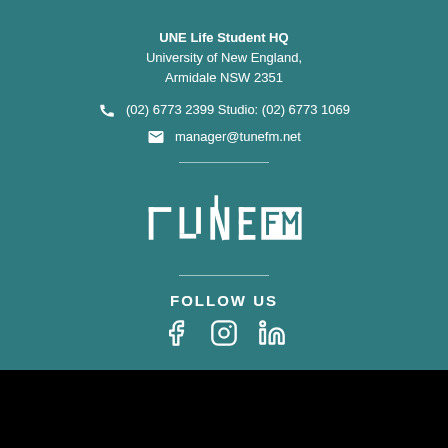UNE Life Student HQ
University of New England,
Armidale NSW 2351
(02) 6773 2399 Studio: (02) 6773 1069
manager@tunefm.net
[Figure (logo): TuneFM radio station logo in white on teal background]
FOLLOW US
[Figure (infographic): Social media icons: Facebook, Instagram, LinkedIn]